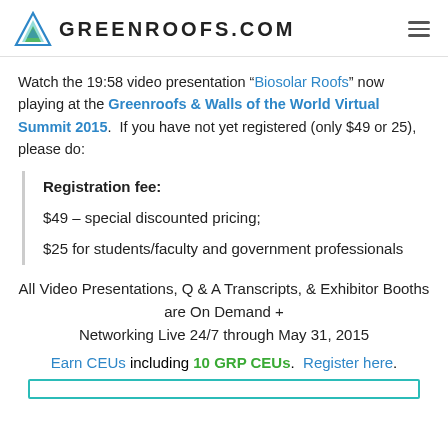GREENROOFS.COM
Watch the 19:58 video presentation “Biosolar Roofs” now playing at the Greenroofs & Walls of the World Virtual Summit 2015.  If you have not yet registered (only $49 or 25), please do:
Registration fee:
$49 – special discounted pricing;
$25 for students/faculty and government professionals
All Video Presentations, Q & A Transcripts, & Exhibitor Booths are On Demand + Networking Live 24/7 through May 31, 2015
Earn CEUs including 10 GRP CEUs.  Register here.